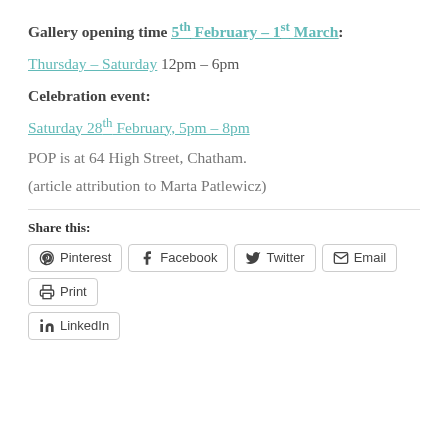Gallery opening time 5th February – 1st March:
Thursday – Saturday 12pm – 6pm
Celebration event:
Saturday 28th February, 5pm – 8pm
POP is at 64 High Street, Chatham.
(article attribution to Marta Patlewicz)
Share this:
Pinterest  Facebook  Twitter  Email  Print  LinkedIn